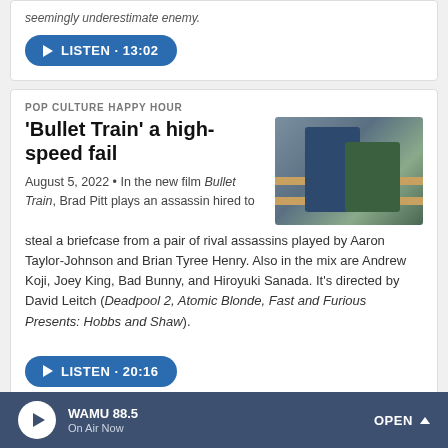seemingly underestimate enemy.
LISTEN · 13:02
POP CULTURE HAPPY HOUR
'Bullet Train' a high-speed fail
[Figure (photo): Two people grappling/fighting in what appears to be a bar or restaurant setting with shelves in the background]
August 5, 2022 • In the new film Bullet Train, Brad Pitt plays an assassin hired to steal a briefcase from a pair of rival assassins played by Aaron Taylor-Johnson and Brian Tyree Henry. Also in the mix are Andrew Koji, Joey King, Bad Bunny, and Hiroyuki Sanada. It's directed by David Leitch (Deadpool 2, Atomic Blonde, Fast and Furious Presents: Hobbs and Shaw).
LISTEN · 20:16
WAMU 88.5 On Air Now OPEN